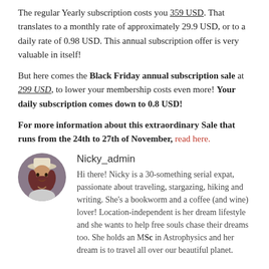The regular Yearly subscription costs you 359 USD. That translates to a monthly rate of approximately 29.9 USD, or to a daily rate of 0.98 USD. This annual subscription offer is very valuable in itself!
But here comes the Black Friday annual subscription sale at 299 USD, to lower your membership costs even more! Your daily subscription comes down to 0.8 USD!
For more information about this extraordinary Sale that runs from the 24th to 27th of November, read here.
[Figure (photo): Circular profile photo of Nicky_admin, a woman with long dark hair wearing a white hat, photographed outdoors.]
Nicky_admin
Hi there! Nicky is a 30-something serial expat, passionate about traveling, stargazing, hiking and writing. She's a bookworm and a coffee (and wine) lover! Location-independent is her dream lifestyle and she wants to help free souls chase their dreams too. She holds an MSc in Astrophysics and her dream is to travel all over our beautiful planet.